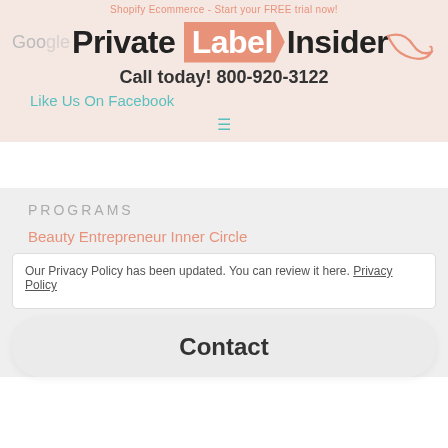Shopify Ecommerce - Start your FREE trial now!
[Figure (logo): Private Label Insider logo with orange label tag shape in the middle, decorative curl, and text 'Call today! 800-920-3122' below]
Like Us On Facebook
PROGRAMS
Beauty Entrepreneur Inner Circle
Our Privacy Policy has been updated. You can review it here. Privacy Policy
Contact